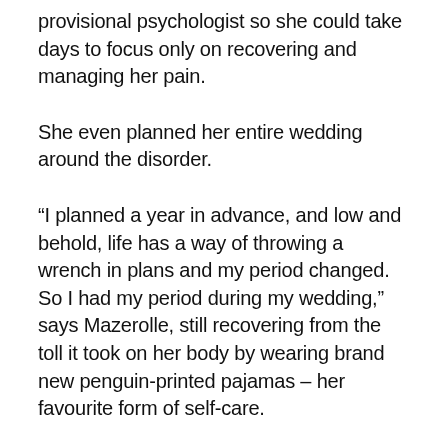provisional psychologist so she could take days to focus only on recovering and managing her pain.
She even planned her entire wedding around the disorder.
“I planned a year in advance, and low and behold, life has a way of throwing a wrench in plans and my period changed. So I had my period during my wedding,” says Mazerolle, still recovering from the toll it took on her body by wearing brand new penguin-printed pajamas – her favourite form of self-care.
Similarly, MacDonald works closely with other